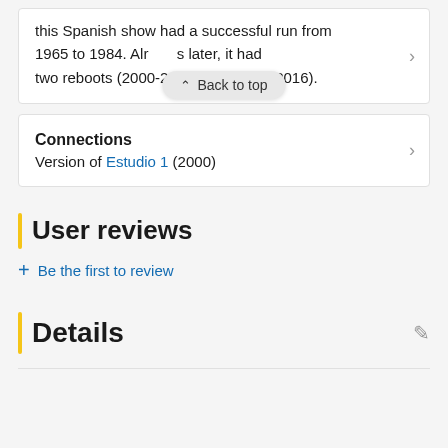this Spanish show had a successful run from 1965 to 1984. Alr... s later, it had two reboots (2000-2006) and (2010-2016).
Connections
Version of Estudio 1 (2000)
User reviews
+ Be the first to review
Details